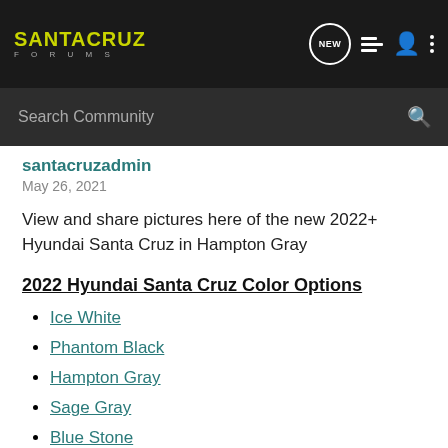SANTA CRUZ FORUMS
santacruzadmin
May 26, 2021
View and share pictures here of the new 2022+ Hyundai Santa Cruz in Hampton Gray
2022 Hyundai Santa Cruz Color Options
Ice White
Phantom Black
Hampton Gray
Sage Gray
Blue Stone
Desert Sand